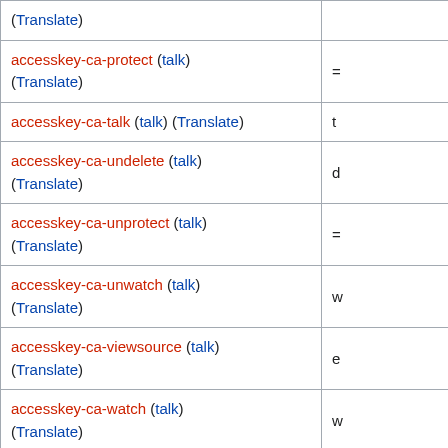| (Translate) |  |
| accesskey-ca-protect (talk)
(Translate) | = |
| accesskey-ca-talk (talk) (Translate) | t |
| accesskey-ca-undelete (talk)
(Translate) | d |
| accesskey-ca-unprotect (talk)
(Translate) | = |
| accesskey-ca-unwatch (talk)
(Translate) | w |
| accesskey-ca-viewsource (talk)
(Translate) | e |
| accesskey-ca-watch (talk)
(Translate) | w |
| accesskey-citethispage (talk)
(Translate) |  |
| accesskey-compareselectedversions (talk) | v |